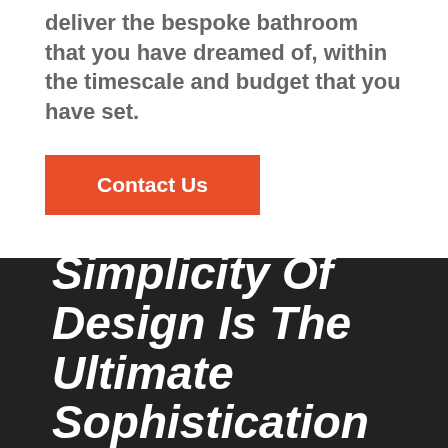deliver the bespoke bathroom that you have dreamed of, within the timescale and budget that you have set.
Contact Us
Simplicity Of Design Is The Ultimate Sophistication